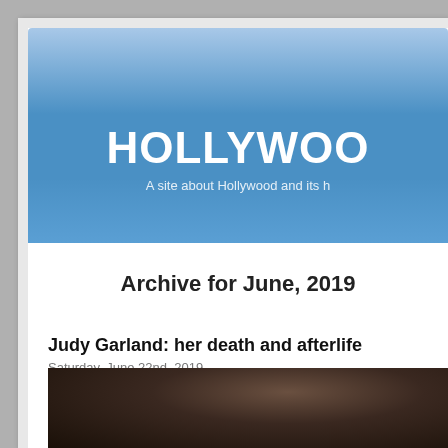HOLLYWOO...
A site about Hollywood and its h...
Archive for June, 2019
Judy Garland: her death and afterlife
Saturday, June 22nd, 2019
[Figure (photo): A dark photograph of a person, cropped at bottom of page]